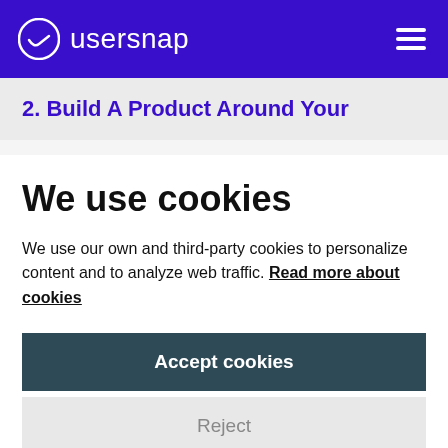usersnap
2. Build A Product Around Your
We use cookies
We use our own and third-party cookies to personalize content and to analyze web traffic. Read more about cookies
Accept cookies
Reject